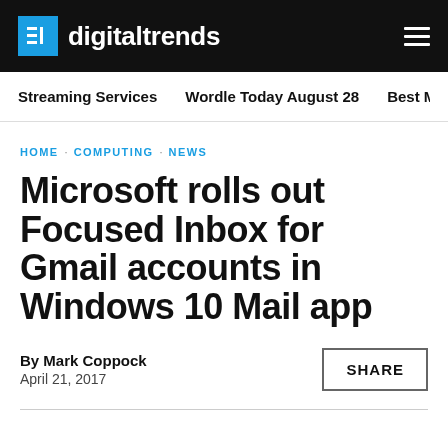digitaltrends
Streaming Services · Wordle Today August 28 · Best Movies c
HOME · COMPUTING · NEWS
Microsoft rolls out Focused Inbox for Gmail accounts in Windows 10 Mail app
By Mark Coppock
April 21, 2017
SHARE